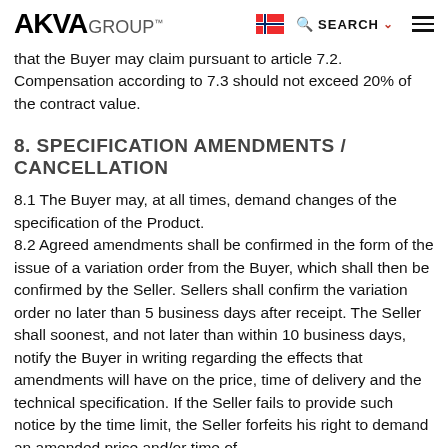AKVA GROUP — SEARCH navigation header
that the Buyer may claim pursuant to article 7.2. Compensation according to 7.3 should not exceed 20% of the contract value.
8. SPECIFICATION AMENDMENTS / CANCELLATION
8.1 The Buyer may, at all times, demand changes of the specification of the Product.
8.2 Agreed amendments shall be confirmed in the form of the issue of a variation order from the Buyer, which shall then be confirmed by the Seller. Sellers shall confirm the variation order no later than 5 business days after receipt. The Seller shall soonest, and not later than within 10 business days, notify the Buyer in writing regarding the effects that amendments will have on the price, time of delivery and the technical specification. If the Seller fails to provide such notice by the time limit, the Seller forfeits his right to demand an amended price and/or time of